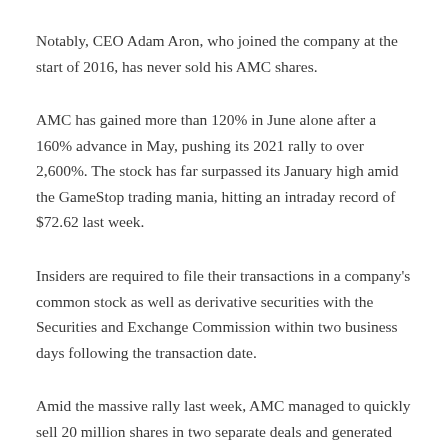Notably, CEO Adam Aron, who joined the company at the start of 2016, has never sold his AMC shares.
AMC has gained more than 120% in June alone after a 160% advance in May, pushing its 2021 rally to over 2,600%. The stock has far surpassed its January high amid the GameStop trading mania, hitting an intraday record of $72.62 last week.
Insiders are required to file their transactions in a company's common stock as well as derivative securities with the Securities and Exchange Commission within two business days following the transaction date.
Amid the massive rally last week, AMC managed to quickly sell 20 million shares in two separate deals and generated